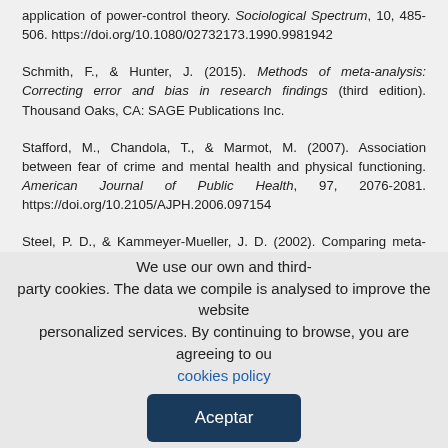application of power-control theory. Sociological Spectrum, 10, 485-506. https://doi.org/10.1080/02732173.1990.9981942
Schmith, F., & Hunter, J. (2015). Methods of meta-analysis: Correcting error and bias in research findings (third edition). Thousand Oaks, CA: SAGE Publications Inc.
Stafford, M., Chandola, T., & Marmot, M. (2007). Association between fear of crime and mental health and physical functioning. American Journal of Public Health, 97, 2076-2081. https://doi.org/10.2105/AJPH.2006.097154
Steel, P. D., & Kammeyer-Mueller, J. D. (2002). Comparing meta-analytic moderator estimation techniques under realistic conditions. Journal of Applied Psychology, 87, 96-111. https://doi.org/10.1037/0021-9010.87.1.96
We use our own and third-party cookies. The data we compile is analysed to improve the website and personalized services. By continuing to browse, you are agreeing to our cookies policy